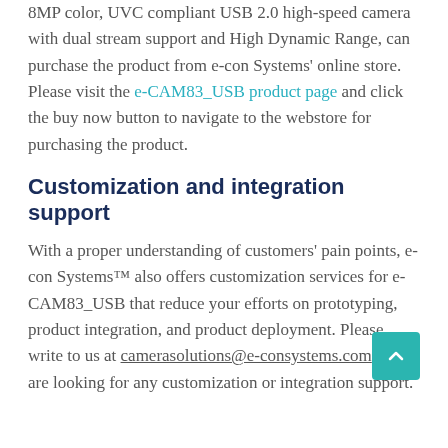8MP color, UVC compliant USB 2.0 high-speed camera with dual stream support and High Dynamic Range, can purchase the product from e-con Systems' online store. Please visit the e-CAM83_USB product page and click the buy now button to navigate to the webstore for purchasing the product.
Customization and integration support
With a proper understanding of customers' pain points, e-con Systems™ also offers customization services for e-CAM83_USB that reduce your efforts on prototyping, product integration, and product deployment. Please write to us at camerasolutions@e-consystems.com if you are looking for any customization or integration support.